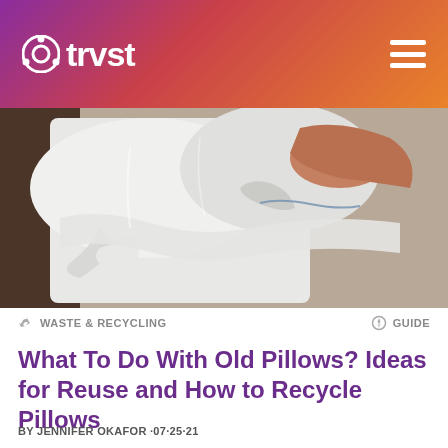trvst
[Figure (photo): Photo of white pillows and bedding with a person's arm visible, shot close up on a bed with white linens.]
WASTE & RECYCLING
GUIDE
What To Do With Old Pillows? Ideas for Reuse and How to Recycle Pillows
BY JENNIFER OKAFOR ·07·25·21